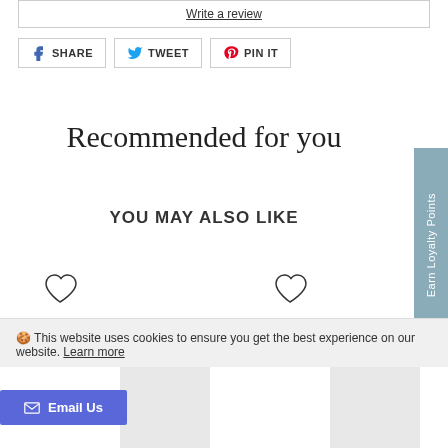Write a review
SHARE   TWEET   PIN IT
Recommended for you
YOU MAY ALSO LIKE
[Figure (illustration): Two heart/wishlist icons below 'YOU MAY ALSO LIKE' section]
[Figure (illustration): Earn Loyalty Points vertical sidebar tab in blue-grey]
🍪 This website uses cookies to ensure you get the best experience on our website. Learn more
Email Us